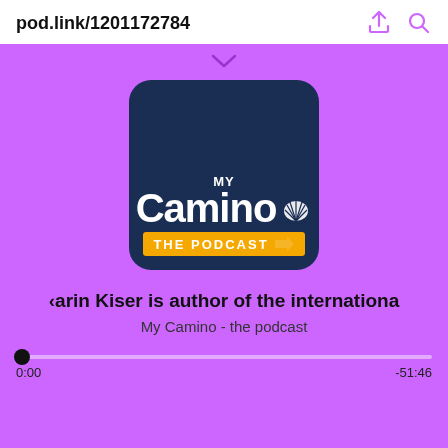pod.link/1201172784
[Figure (logo): My Camino The Podcast podcast artwork — dark navy blue square with rounded corners showing 'MY Camino' text with a scallop shell icon and a yellow banner reading 'THE PODCAST' with an arrow]
Karin Kiser is author of the internationa
My Camino - the podcast
0:00  -51:46